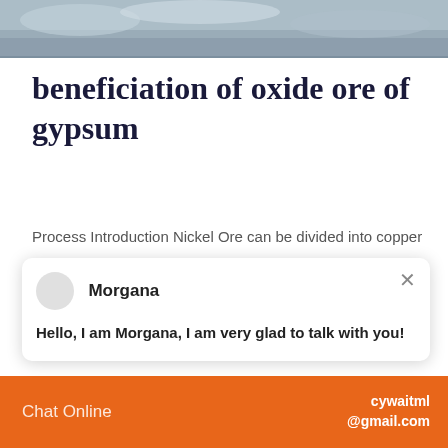[Figure (photo): Top strip photo showing rocky/mineral terrain in grayscale]
beneficiation of oxide ore of gypsum
Process Introduction Nickel Ore can be divided into copper
[Figure (screenshot): Chat popup with avatar, name Morgana, and greeting message: Hello, I am Morgana, I am very glad to talk with you!]
[Figure (photo): Bottom photo of industrial/construction equipment]
[Figure (screenshot): Chat widget with person photo, notification badge showing 1, Click to chat button, and Enquiry label]
Chat Online   cywaitml @gmail.com